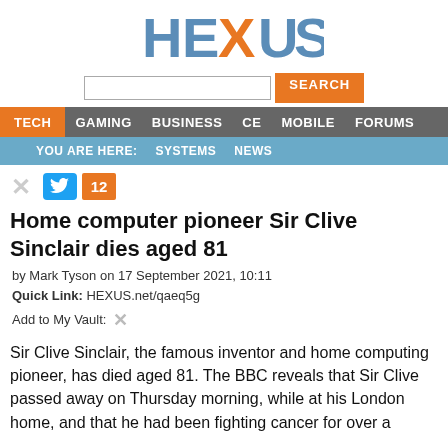HEXUS
[Figure (screenshot): Search bar with input field and orange SEARCH button]
TECH GAMING BUSINESS CE MOBILE FORUMS
YOU ARE HERE: SYSTEMS NEWS
[Figure (infographic): Social share icons: X (gray), Twitter blue bird button, orange count badge showing 12]
Home computer pioneer Sir Clive Sinclair dies aged 81
by Mark Tyson on 17 September 2021, 10:11
Quick Link: HEXUS.net/qaeq5g
Add to My Vault:
Sir Clive Sinclair, the famous inventor and home computing pioneer, has died aged 81. The BBC reveals that Sir Clive passed away on Thursday morning, while at his London home, and that he had been fighting cancer for over a